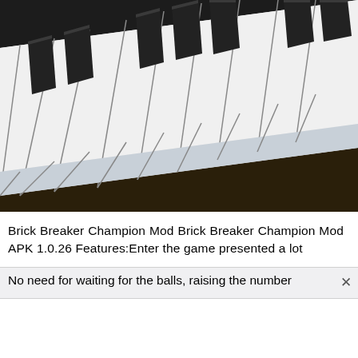[Figure (photo): Close-up photograph of piano keys (black and white keys) viewed from an angle, showing the tops and sides of the keys with the piano body in dark background.]
Brick Breaker Champion Mod Brick Breaker Champion Mod APK 1.0.26 Features:Enter the game presented a lot
No need for waiting for the balls, raising the number